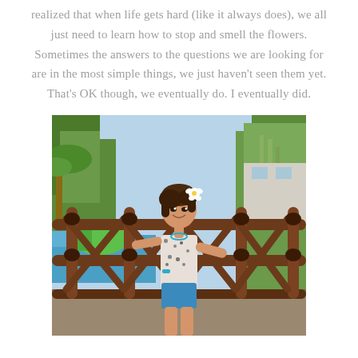realized that when life gets hard (like it always does), we all just need to learn how to stop and smell the flowers. Sometimes the answers to the questions we are looking for are in the most simple things, we just haven't seen them yet. That's OK though, we eventually do. I eventually did.
[Figure (photo): A young girl with a flower in her hair wearing a floral sleeveless top and blue shorts, standing in front of a bamboo railing at what appears to be a water park or resort, with tropical plants and a pool visible in the background.]